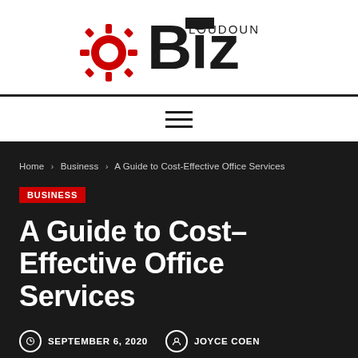[Figure (logo): Loudoun Biz logo with red gear icon and bold black 'Biz' text with 'Loudoun' above]
≡ (hamburger menu)
Home > Business > A Guide to Cost-Effective Office Services
BUSINESS
A Guide to Cost-Effective Office Services
SEPTEMBER 6, 2020  JOYCE COEN